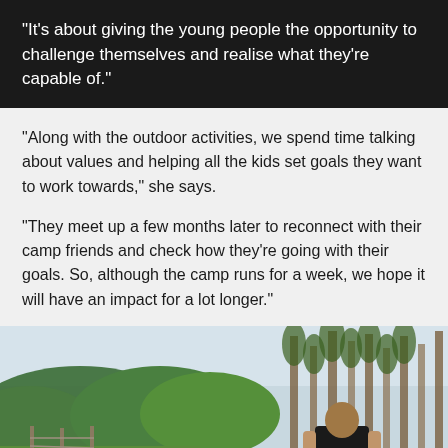"It's about giving the young people the opportunity to challenge themselves and realise what they're capable of."
"Along with the outdoor activities, we spend time talking about values and helping all the kids set goals they want to work towards," she says.
“They meet up a few months later to reconnect with their camp friends and check how they’re going with their goals. So, although the camp runs for a week, we hope it will have an impact for a lot longer."
[Figure (photo): Outdoor scene showing a person from behind wearing a black t-shirt with 'LEADER' printed on the back, standing in front of tall trees and green landscape.]